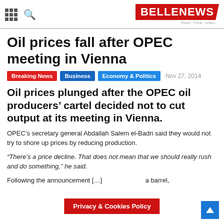BELLENEWS — Read. Think. Learn.
Oil prices fall after OPEC meeting in Vienna
Breaking News  Business  Economy & Politics  Nov 27, 2014
Oil prices plunged after the OPEC oil producers' cartel decided not to cut output at its meeting in Vienna.
OPEC's secretary general Abdallah Salem el-Badri said they would not try to shore up prices by reducing production.
“There’s a price decline. That does not mean that we should really rush and do something,” he said.
Following the announcement [...]  a barrel,